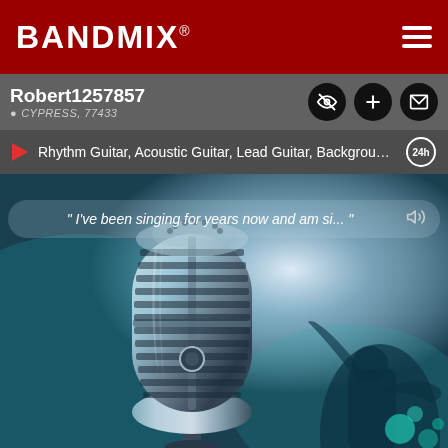BANDMIX®
Robert1257857
CYPRESS, 77433
Rhythm Guitar, Acoustic Guitar, Lead Guitar, Background Singer, El...
" I've been singing for years now and am si... "
[Figure (photo): Close-up photo of a vintage silver microphone against a blurred blue-green concert background with a silhouette of a performer]